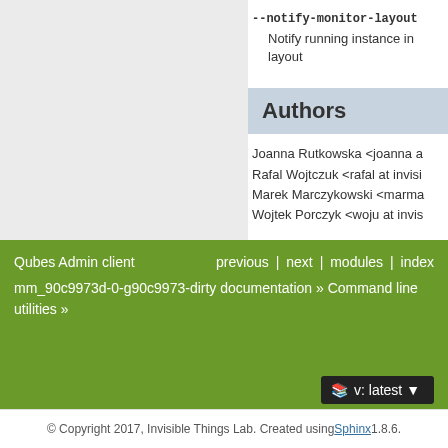--notify-monitor-layout
Notify running instance in layout
Authors
Joanna Rutkowska <joanna a...
Rafal Wojtczuk <rafal at invisi...
Marek Marczykowski <marma...
Wojtek Porczyk <woju at invis...
For complete author list see: h... admin-client.git
Qubes Admin client  previous | next | modules | index  mm_90c9973d-0-g90c9973-dirty documentation » Command line utilities »  v: latest  © Copyright 2017, Invisible Things Lab. Created using Sphinx 1.8.6.